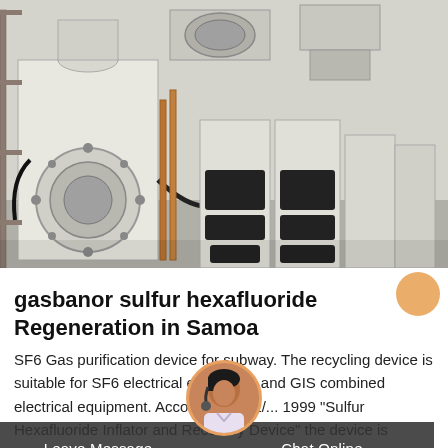[Figure (photo): Industrial SF6 gas handling equipment — large beige/cream-colored electrical switchgear units arranged in a row inside a facility, with copper bus bars, cables, and control cabinets visible.]
gasbanor sulfur hexafluoride Regeneration in Samoa
SF6 Gas purification device for subway. The recycling device is suitable for SF6 electrical equipment and GIS combined electrical equipment. According to DL/... 1999 "Sulfur Hexafluoride Inflator and Recovery Device" the device is composed of